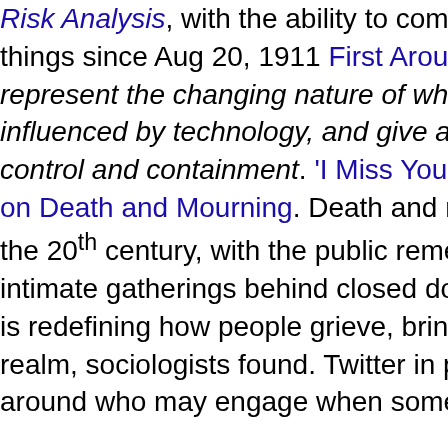Risk Analysis, with the ability to communicate things since Aug 20, 1911 First Around the represent the changing nature of what is co influenced by technology, and give a way to control and containment. 'I Miss You So M on Death and Mourning. Death and mour the 20th century, with the public rememb intimate gatherings behind closed doors is redefining how people grieve, bringing realm, sociologists found. Twitter in parti around who may engage when someone -A. With parademic grief is not limi event does not have to be real to cause gr